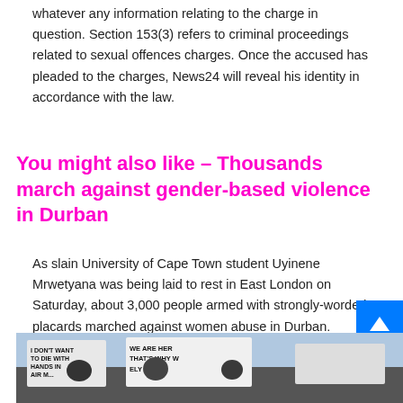whatever any information relating to the charge in question. Section 153(3) refers to criminal proceedings related to sexual offences charges. Once the accused has pleaded to the charges, News24 will reveal his identity in accordance with the law.
You might also like – Thousands march against gender-based violence in Durban
As slain University of Cape Town student Uyinene Mrwetyana was being laid to rest in East London on Saturday, about 3,000 people armed with strongly-worded placards marched against women abuse in Durban.
[Figure (photo): Protesters holding placards at a march against gender-based violence. Signs visible include 'I DON'T WANT TO DIE WITH HANDS IN AIR' and 'WE ARE HER THAT'S WHY W[E]...']